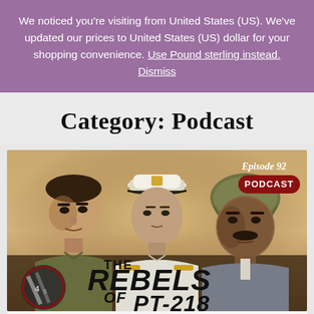We noticed you're visiting from United States (US). We've updated our prices to United States (US) dollar for your shopping convenience. Use Pound sterling instead. Dismiss
Category: Podcast
[Figure (photo): Movie/show promotional image for 'The Rebels of PT-218' featuring three men in military attire. Top right corner shows 'Episode 92' and a red 'PODCAST' badge. Bottom left has a circular logo.]